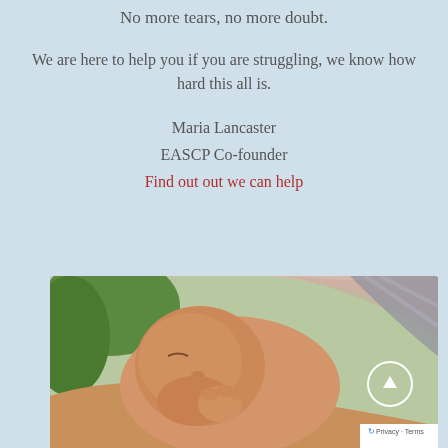No more tears, no more doubt.
We are here to help you if you are struggling, we know how hard this all is.
Maria Lancaster
EASCP Co-founder
Find out out we can help
[Figure (photo): Close-up photo of a newborn baby being held, with greenery and a building visible in the background. A white circle with an upward arrow is overlaid on the right side of the image. A Google reCAPTCHA privacy badge appears in the bottom-right corner.]